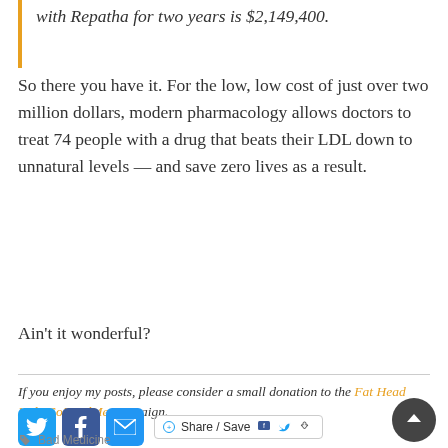with Repatha for two years is $2,149,400.
So there you have it. For the low, low cost of just over two million dollars, modern pharmacology allows doctors to treat 74 people with a drug that beats their LDL down to unnatural levels — and save zero lives as a result.
Ain't it wonderful?
If you enjoy my posts, please consider a small donation to the Fat Head Kids GoFundMe campaign.
[Figure (other): Social sharing bar with Twitter, Facebook, Email icons and a Share/Save button]
Bad Medicine